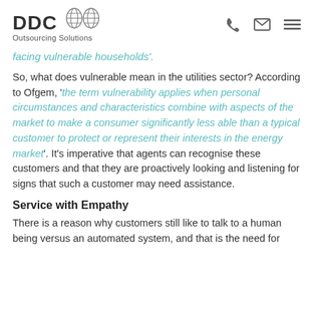DDC Outsourcing Solutions [logo with globe icons, phone icon, email icon, menu icon]
facing vulnerable households'.
So, what does vulnerable mean in the utilities sector? According to Ofgem, 'the term vulnerability applies when personal circumstances and characteristics combine with aspects of the market to make a consumer significantly less able than a typical customer to protect or represent their interests in the energy market'. It's imperative that agents can recognise these customers and that they are proactively looking and listening for signs that such a customer may need assistance.
Service with Empathy
There is a reason why customers still like to talk to a human being versus an automated system, and that is the need for